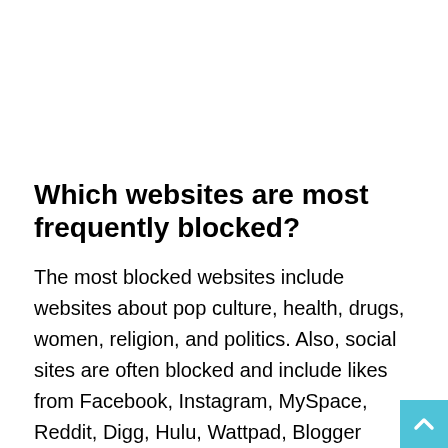Which websites are most frequently blocked?
The most blocked websites include websites about pop culture, health, drugs, women, religion, and politics. Also, social sites are often blocked and include likes from Facebook, Instagram, MySpace, Reddit, Digg, Hulu, Wattpad, Blogger